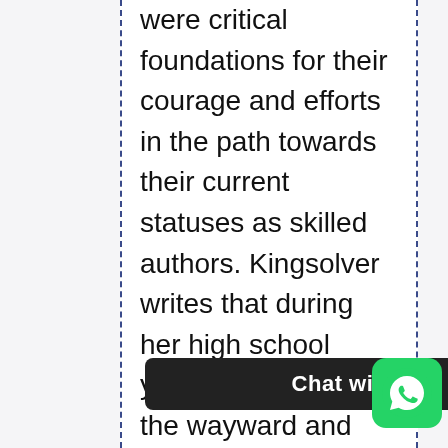were critical foundations for their courage and efforts in the path towards their current statuses as skilled authors. Kingsolver writes that during her high school years, she resisted the wayward and irresponsible ways of her peers and stuck to school curriculum activities despite their boring nature. When the librarian at her school took a keen interest in her and recruited her cat